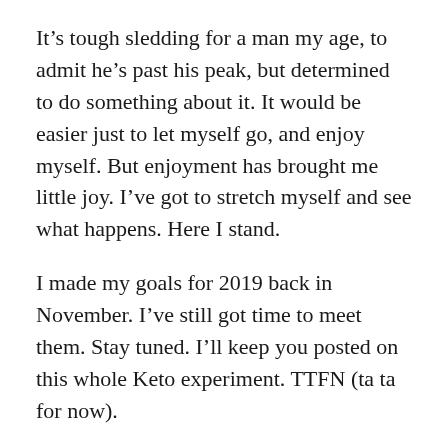It’s tough sledding for a man my age, to admit he’s past his peak, but determined to do something about it. It would be easier just to let myself go, and enjoy myself. But enjoyment has brought me little joy. I’ve got to stretch myself and see what happens. Here I stand.
I made my goals for 2019 back in November. I’ve still got time to meet them. Stay tuned. I’ll keep you posted on this whole Keto experiment. TTFN (ta ta for now).
Share this:
Twitter   Facebook
Loading...